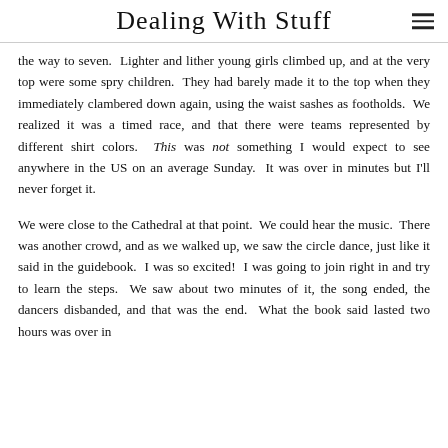Dealing With Stuff
the way to seven.  Lighter and lither young girls climbed up, and at the very top were some spry children.  They had barely made it to the top when they immediately clambered down again, using the waist sashes as footholds.  We realized it was a timed race, and that there were teams represented by different shirt colors.  This was not something I would expect to see anywhere in the US on an average Sunday.  It was over in minutes but I'll never forget it.
We were close to the Cathedral at that point.  We could hear the music.  There was another crowd, and as we walked up, we saw the circle dance, just like it said in the guidebook.  I was so excited!  I was going to join right in and try to learn the steps.  We saw about two minutes of it, the song ended, the dancers disbanded, and that was the end.  What the book said lasted two hours was over in